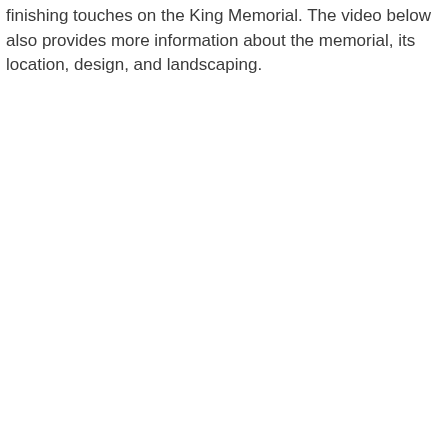finishing touches on the King Memorial. The video below also provides more information about the memorial, its location, design, and landscaping.